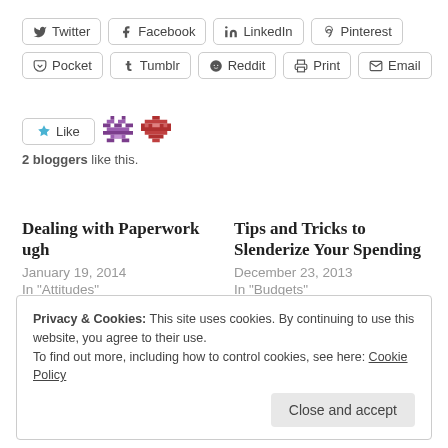[Figure (other): Social share buttons row 1: Twitter, Facebook, LinkedIn, Pinterest]
[Figure (other): Social share buttons row 2: Pocket, Tumblr, Reddit, Print, Email]
[Figure (other): Like button with 2 blogger avatars and text: 2 bloggers like this.]
Dealing with Paperwork ugh
January 19, 2014
In "Attitudes"
Tips and Tricks to Slenderize Your Spending
December 23, 2013
In "Budgets"
Privacy & Cookies: This site uses cookies. By continuing to use this website, you agree to their use.
To find out more, including how to control cookies, see here: Cookie Policy
Close and accept